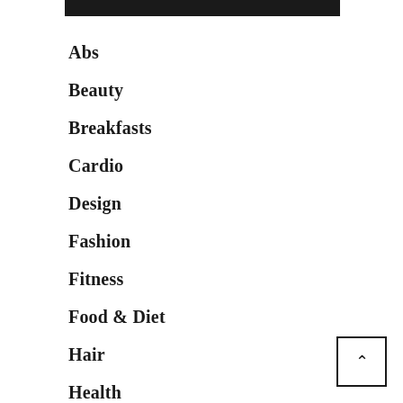Abs
Beauty
Breakfasts
Cardio
Design
Fashion
Fitness
Food & Diet
Hair
Health
Lifestyle